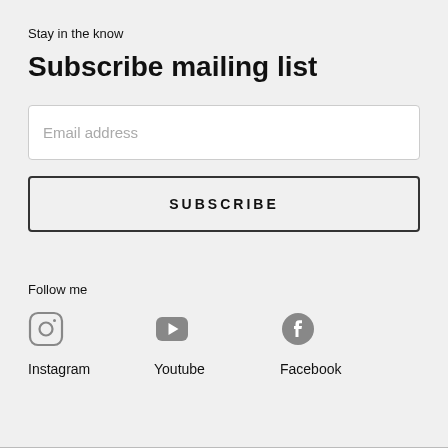Stay in the know
Subscribe mailing list
Email address
SUBSCRIBE
Follow me
Instagram
Youtube
Facebook